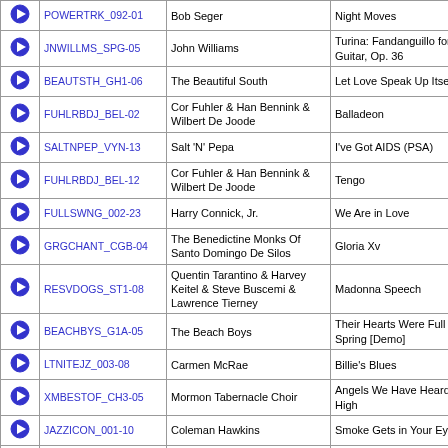|  | ID | Artist | Title |
| --- | --- | --- | --- |
| ▶ | POWERTRK_092-01 | Bob Seger | Night Moves |
| ▶ | JNWILLMS_SPG-05 | John Williams | Turina: Fandanguillo for Guitar, Op. 36 |
| ▶ | BEAUTSTH_GH1-06 | The Beautiful South | Let Love Speak Up Itself |
| ▶ | FUHLRBDJ_BEL-02 | Cor Fuhler & Han Bennink & Wilbert De Joode | Balladeon |
| ▶ | SALTNPEP_VYN-13 | Salt 'N' Pepa | I've Got AIDS (PSA) |
| ▶ | FUHLRBDJ_BEL-12 | Cor Fuhler & Han Bennink & Wilbert De Joode | Tengo |
| ▶ | FULLSWNG_002-23 | Harry Connick, Jr. | We Are in Love |
| ▶ | GRGCHANT_CGB-04 | The Benedictine Monks Of Santo Domingo De Silos | Gloria Xv |
| ▶ | RESVDOGS_ST1-08 | Quentin Tarantino & Harvey Keitel & Steve Buscemi & Lawrence Tierney | Madonna Speech |
| ▶ | BEACHBYS_G1A-05 | The Beach Boys | Their Hearts Were Full Of Spring [Demo] |
| ▶ | LTNITEJZ_003-08 | Carmen McRae | Billie's Blues |
| ▶ | XMBESTOF_CH3-05 | Mormon Tabernacle Choir | Angels We Have Heard on High |
| ▶ | JAZZICON_001-10 | Coleman Hawkins | Smoke Gets in Your Eyes |
| ▶ | JAYSLBOB_ST1-26 | Chris Rock | NWP |
| ▶ | FAMLYGUY_LV1-11 | Family Guy Cast | But I'm Yours |
| ▶ | OBROTHER_ST1-18 | Fairfield Four | Lonesome Valley |
| ▶ | TOMWAITS_MLV-08 | Tom Waits | What's He Building? |
| ▶ | POWERTRK_110-13 | David Essex | Rock On |
| ▶ | POWERTRK_027-20 | Harry Connick, Jr. | It Had to Be You |